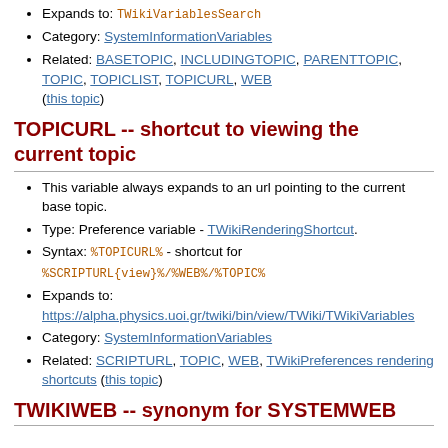Expands to: TWikiVariablesSearch
Category: SystemInformationVariables
Related: BASETOPIC, INCLUDINGTOPIC, PARENTTOPIC, TOPIC, TOPICLIST, TOPICURL, WEB (this topic)
TOPICURL -- shortcut to viewing the current topic
This variable always expands to an url pointing to the current base topic.
Type: Preference variable - TWikiRenderingShortcut.
Syntax: %TOPICURL% - shortcut for %SCRIPTURL{view}%/%WEB%/%TOPIC%
Expands to: https://alpha.physics.uoi.gr/twiki/bin/view/TWiki/TWikiVariables
Category: SystemInformationVariables
Related: SCRIPTURL, TOPIC, WEB, TWikiPreferences rendering shortcuts (this topic)
TWIKIWEB -- synonym for SYSTEMWEB